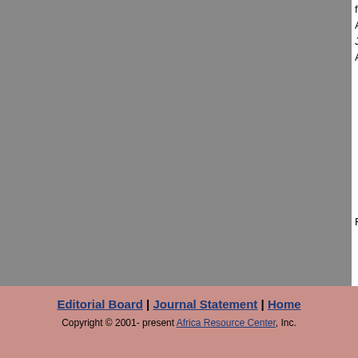formatted, with complete notes, pagination, a digital download at a minimal cost. As new te emerge, AfricaResource will be in a position t improve the software, enhance our services, of maintaining the Journal Download. To acco preferences of viewers, individual articles of e pay-per-view model on AfricaResource.
RIGHTS, PERMISSIONS A
Requests for rights, permissions and reprints AfricaResource.
PAST ISSUE
Issue 3 (2003)
Issue 2 (200)
Volume 1, No. 1
Journal Statem
Thought and Practice in Afr
Editorial Board | Journal Statement | Home
Copyright © 2001- present Africa Resource Center, Inc.